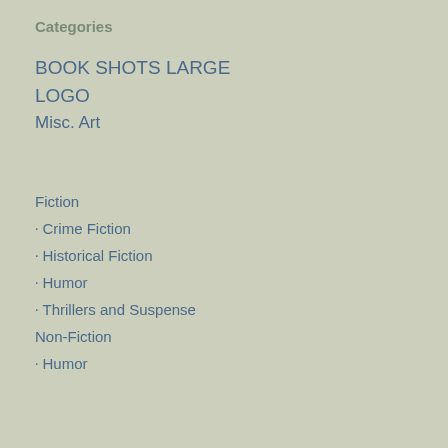Categories
BOOK SHOTS LARGE
LOGO
Misc. Art
Fiction
Crime Fiction
Historical Fiction
Humor
Thrillers and Suspense
Non-Fiction
Humor